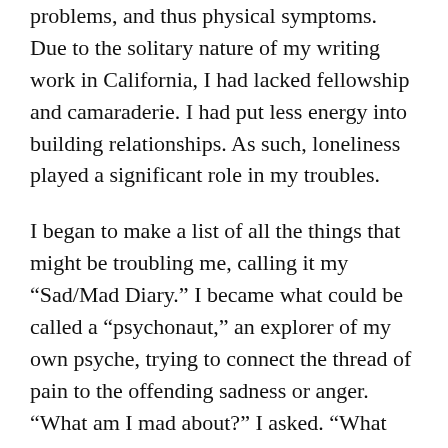problems, and thus physical symptoms. Due to the solitary nature of my writing work in California, I had lacked fellowship and camaraderie. I had put less energy into building relationships. As such, loneliness played a significant role in my troubles.
I began to make a list of all the things that might be troubling me, calling it my “Sad/Mad Diary.” I became what could be called a “psychonaut,” an explorer of my own psyche, trying to connect the thread of pain to the offending sadness or anger. “What am I mad about?” I asked. “What am I sad about?” I searched within my heart and mind for cognitive dissonance and internal conflicts, ranging from the stresses of daily life to childhood trauma.
My list swelled to about twenty-five possibilities, which I grouped into categories such as childhood, family, love, career and health. During psychotherapy sessions, I